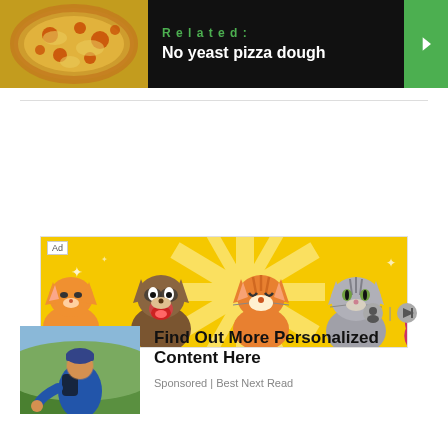[Figure (screenshot): Related article banner with pizza photo on left, dark background with 'Related: No yeast pizza dough' text, green arrow button on right]
[Figure (screenshot): Advertisement banner with yellow sunburst background and cartoon cat/animal characters]
[Figure (screenshot): Sponsored content card with person in blue jacket photo and 'Find Out More Personalized Content Here' title, Sponsored | Best Next Read label]